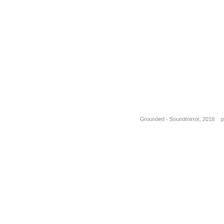Grounded - Soundmirror, 2018    ph